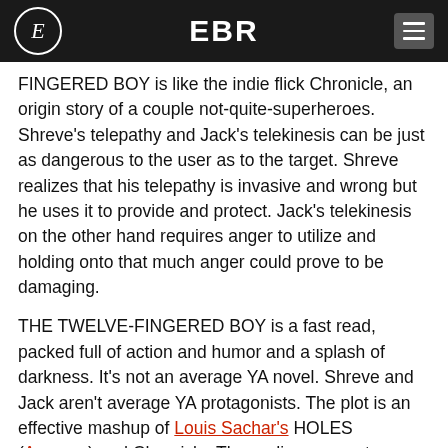EBR
FINGERED BOY is like the indie flick Chronicle, an origin story of a couple not-quite-superheroes. Shreve's telepathy and Jack's telekinesis can be just as dangerous to the user as to the target. Shreve realizes that his telepathy is invasive and wrong but he uses it to provide and protect. Jack's telekinesis on the other hand requires anger to utilize and holding onto that much anger could prove to be damaging.
THE TWELVE-FINGERED BOY is a fast read, packed full of action and humor and a splash of darkness. It's not an average YA novel. Shreve and Jack aren't average YA protagonists. The plot is an effective mashup of Louis Sachar's HOLES (Amazon) and Chronicle. The ending suggests more novels to come, a prospect that I find greatly exciting. I'd love to see how Shreve and Jack progress from here and I need to know what is in Maryland!